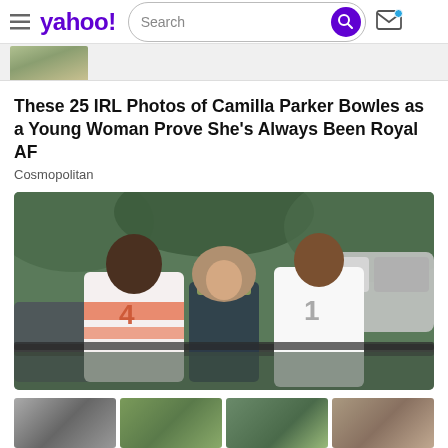yahoo! [Search] [Mail]
[Figure (photo): Partial thumbnail strip showing top of a photo, green/tan tones]
These 25 IRL Photos of Camilla Parker Bowles as a Young Woman Prove She's Always Been Royal AF
Cosmopolitan
[Figure (photo): Vintage color photograph showing two people in polo shirts (numbers 4 and 1) viewed from behind, with a woman with shoulder-length hair smiling between them, cars in background, outdoor setting]
[Figure (photo): Four small thumbnail images at bottom of page: black and white photo, outdoor photo, outdoor photo, and another photo]